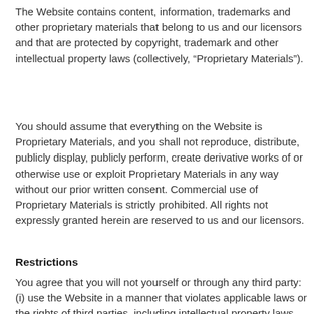The Website contains content, information, trademarks and other proprietary materials that belong to us and our licensors and that are protected by copyright, trademark and other intellectual property laws (collectively, “Proprietary Materials”).
You should assume that everything on the Website is Proprietary Materials, and you shall not reproduce, distribute, publicly display, publicly perform, create derivative works of or otherwise use or exploit Proprietary Materials in any way without our prior written consent. Commercial use of Proprietary Materials is strictly prohibited. All rights not expressly granted herein are reserved to us and our licensors.
Restrictions
You agree that you will not yourself or through any third party: (i) use the Website in a manner that violates applicable laws or the rights of third parties, including intellectual property laws